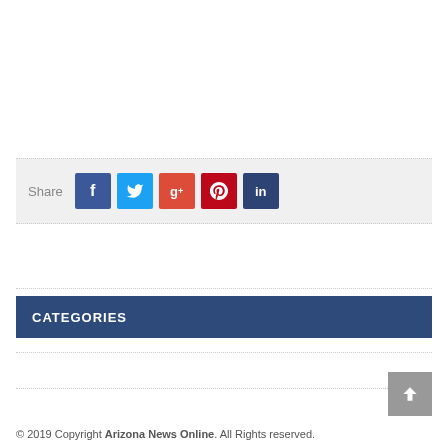Share
[Figure (infographic): Social share buttons: Facebook (blue), Twitter (cyan), Google+ (orange-red), Pinterest (red), LinkedIn (dark blue)]
CATEGORIES
Press Release
© 2019 Copyright Arizona News Online. All Rights reserved.